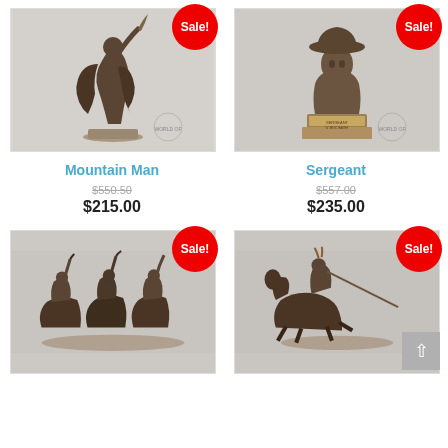[Figure (photo): Bronze sculpture of a mountain man on rearing horse with flowing figure, 'Sale!' badge in red circle top right]
[Figure (photo): Bronze bust/statue of a sergeant figure on pedestal, 'Sale!' badge in red circle top right]
Mountain Man
$550.50
$215.00
Sergeant
$557.00
$235.00
[Figure (photo): Bronze sculpture of multiple Native American warriors on horseback with raised weapons, 'Sale!' badge in red circle top right]
[Figure (photo): Bronze sculpture of Native American rider on galloping horse with lance, 'Sale!' badge in red circle top right]